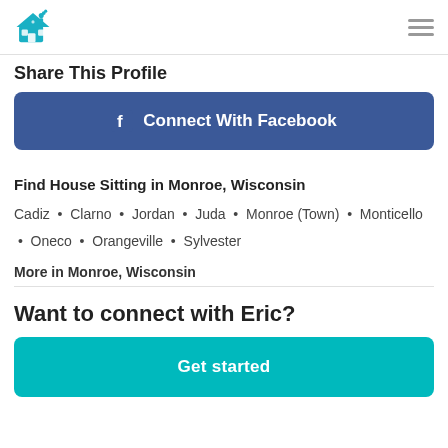Logo and navigation menu
Share This Profile
[Figure (other): Connect With Facebook button — blue rounded rectangle with Facebook icon and text]
Find House Sitting in Monroe, Wisconsin
Cadiz • Clarno • Jordan • Juda • Monroe (Town) • Monticello • Oneco • Orangeville • Sylvester
More in Monroe, Wisconsin
Want to connect with Eric?
[Figure (other): Get started button — teal/cyan rounded rectangle with white text]